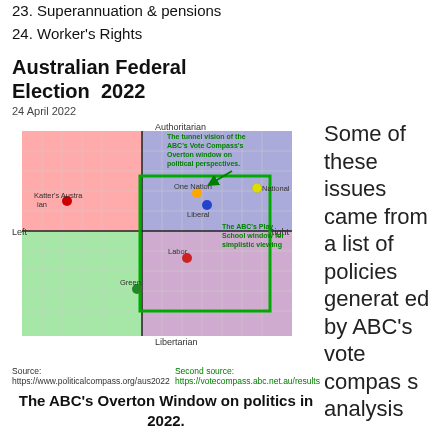22. Social justice
23. Superannuation & pensions
24. Worker's Rights
[Figure (infographic): Australian Federal Election 2022 political compass chart showing party positions across Authoritarian/Libertarian and Left/Right axes, with a green rectangle indicating the ABC Vote Compass Overton window. Parties shown: Katter's Australian Party (red dot, left-authoritarian), One Nation (orange dot, right-authoritarian), National (yellow dot, far right-authoritarian), Liberal (blue dot, right-authoritarian), Labor (red dot, center-right), Greens (green dot, left-libertarian). Annotations in green text indicate 'The tunnel vision of the ABC's Vote Compass's Overton window on political perspectives.' and 'The ABC's Play School window for simplistic viewing'. Date: 24 April 2022.]
The ABC's Overton Window on politics in 2022.
Some of these issues came from a list of policies generated by ABC's vote compass analysis